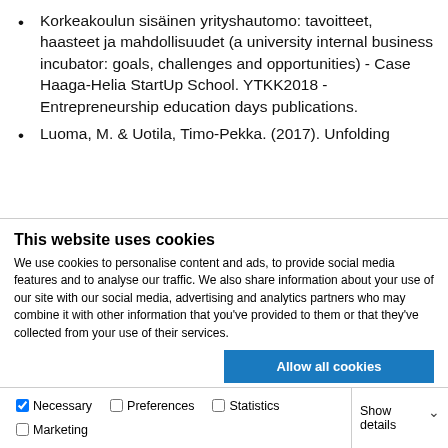Korkeakoulun sisäinen yrityshautomo: tavoitteet, haasteet ja mahdollisuudet (a university internal business incubator: goals, challenges and opportunities) - Case Haaga-Helia StartUp School. YTKK2018 - Entrepreneurship education days publications.
Luoma, M. & Uotila, Timo-Pekka. (2017). Unfolding strategic partnership: An analysis of the CEOs' and
This website uses cookies
We use cookies to personalise content and ads, to provide social media features and to analyse our traffic. We also share information about your use of our site with our social media, advertising and analytics partners who may combine it with other information that you've provided to them or that they've collected from your use of their services.
Allow all cookies
Allow selection
Use necessary cookies only
Necessary  Preferences  Statistics  Marketing  Show details